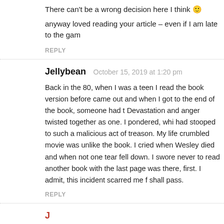There can't be a wrong decision here I think 🙂
anyway loved reading your article – even if I am late to the gam
REPLY
Jellybean   October 15, 2019 at 1:20 pm
Back in the 80, when I was a teen I read the book version before came out and when I got to the end of the book, someone had t Devastation and anger twisted together as one. I pondered, whi had stooped to such a malicious act of treason. My life crumbled movie was unlike the book. I cried when Wesley died and when not one tear fell down. I swore never to read another book with the last page was there, first. I admit, this incident scarred me f shall pass.
REPLY